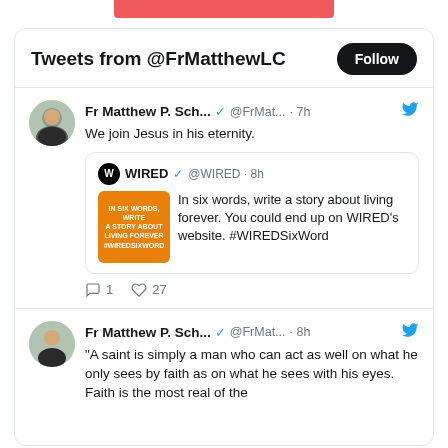Tweets from @FrMatthewLC
Fr Matthew P. Sch... @FrMat... · 7h
We join Jesus in his eternity.
WIRED @WIRED · 8h
In six words, write a story about living forever. You could end up on WIRED's website. #WIREDSixWord
1  27
Fr Matthew P. Sch... @FrMat... · 8h
"A saint is simply a man who can act as well on what he only sees by faith as on what he sees with his eyes. Faith is the most real of the